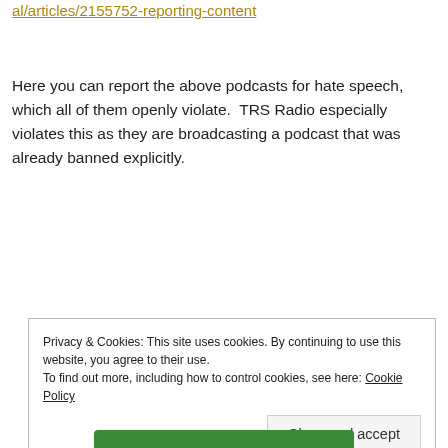at: http://policyandsafety.help.soundcloud.com/customer/portal/articles/2155752-reporting-content
Here you can report the above podcasts for hate speech, which all of them openly violate.  TRS Radio especially violates this as they are broadcasting a podcast that was already banned explicitly.
Privacy & Cookies: This site uses cookies. By continuing to use this website, you agree to their use.
To find out more, including how to control cookies, see here: Cookie Policy
Close and accept